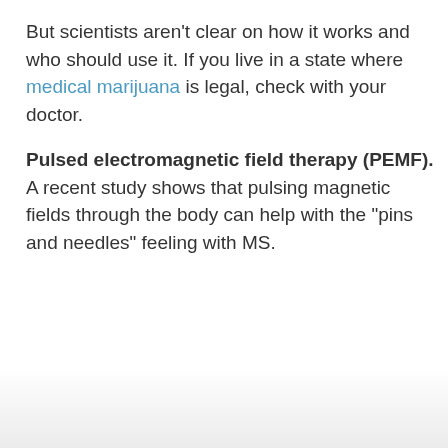But scientists aren't clear on how it works and who should use it. If you live in a state where medical marijuana is legal, check with your doctor.
Pulsed electromagnetic field therapy (PEMF). A recent study shows that pulsing magnetic fields through the body can help with the "pins and needles" feeling with MS.